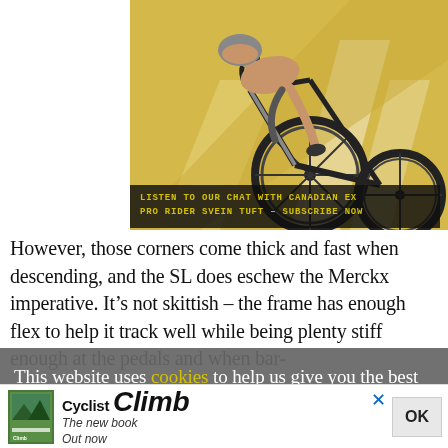[Figure (illustration): Stylized retro illustration of a cyclist in an aerodynamic position on a racing bicycle, yellow and cream background with diagonal road stripes. Dark overlay caption reads: LISTEN TO OUR CHAT WITH CANADIAN EX PRO RIDER SVEIN TUFT – SUBSCRIBE NOW]
LISTEN TO OUR CHAT WITH CANADIAN EX PRO RIDER SVEIN TUFT – SUBSCRIBE NOW
However, those corners come thick and fast when descending, and the SL does eschew the Merckx imperative. It's not skittish – the frame has enough flex to help it track well while being plenty stiff enough at the pedals and when bar-
This website uses cookies to help us give you the best experience when you visit our website. By continuing to use this website, you consent to our use of these cookies.
[Figure (illustration): Advertisement bar at bottom: book cover thumbnail, 'Cyclist Climb The new book Out now', with OK button and close X]